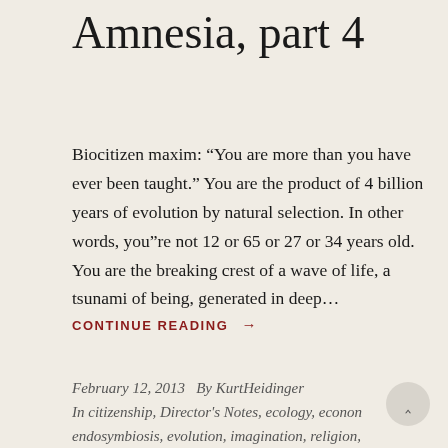Amnesia, part 4
Biocitizen maxim: “You are more than you have ever been taught.” You are the product of 4 billion years of evolution by natural selection. In other words, you”re not 12 or 65 or 27 or 34 years old. You are the breaking crest of a wave of life, a tsunami of being, generated in deep…
CONTINUE READING →
February 12, 2013   By KurtHeidinger
In citizenship, Director's Notes, ecology, econon endosymbiosis, evolution, imagination, religion,